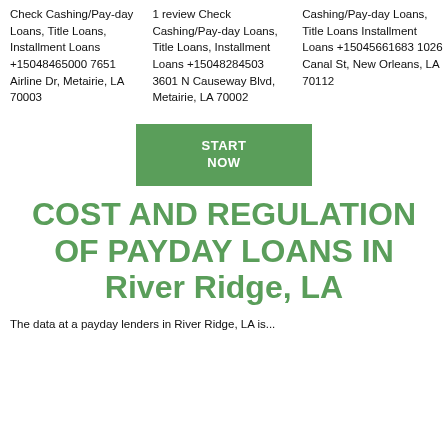Check Cashing/Pay-day Loans, Title Loans, Installment Loans +15048465000 7651 Airline Dr, Metairie, LA 70003
1 review Check Cashing/Pay-day Loans, Title Loans, Installment Loans +15048284503 3601 N Causeway Blvd, Metairie, LA 70002
Cashing/Pay-day Loans, Title Loans Installment Loans +15045661683 1026 Canal St, New Orleans, LA 70112
[Figure (other): Green START NOW button]
COST AND REGULATION OF PAYDAY LOANS IN River Ridge, LA
The data at a payday lenders in River Ridge, LA is...